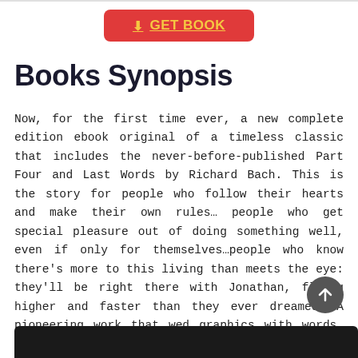[Figure (other): Red rounded rectangle button with gold download icon and underlined text GET BOOK]
Books Synopsis
Now, for the first time ever, a new complete edition ebook original of a timeless classic that includes the never-before-published Part Four and Last Words by Richard Bach. This is the story for people who follow their hearts and make their own rules… people who get special pleasure out of doing something well, even if only for themselves…people who know there's more to this living than meets the eye: they'll be right there with Jonathan, flying higher and faster than they ever dreamed. A pioneering work that wed graphics with words, Jonathan Livingston Seagull now enjoys a whole new life.
[Figure (photo): Dark photograph partially visible at the bottom of the page]